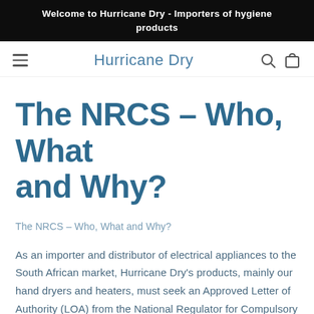Welcome to Hurricane Dry - Importers of hygiene products
Hurricane Dry
The NRCS – Who, What and Why?
The NRCS – Who, What and Why?
As an importer and distributor of electrical appliances to the South African market, Hurricane Dry's products, mainly our hand dryers and heaters, must seek an Approved Letter of Authority (LOA) from the National Regulator for Compulsory